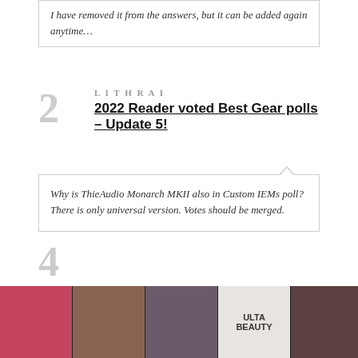I have removed it from the answers, but it can be added again anytime…
2 LITHR AI
2022 Reader voted Best Gear polls – Update 5!
Why is ThieAudio Monarch MKII also in Custom IEMs poll? There is only universal version. Votes should be merged.
3 GINANDBACON
iBasso DX320 Review
I couldn't agree more with your review. The DX320 is only my second DAP (I returned my first) but there is some magic to the stock 11.2(?) amp and ROHM…
CLOSE
[Figure (other): Ulta Beauty cosmetics advertisement banner with makeup product images and SHOP NOW button]